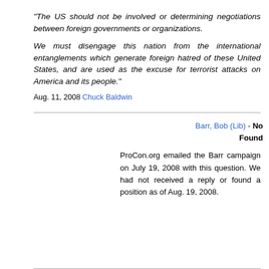"The US should not be involved or determining negotiations between foreign governments or organizations.

We must disengage this nation from the international entanglements which generate foreign hatred of these United States, and are used as the excuse for terrorist attacks on America and its people."
Aug. 11, 2008 Chuck Baldwin
Barr, Bob (Lib) - No Position Found
ProCon.org emailed the Barr campaign on July 19, 2008 with this question. We had not received a reply or found a position as of Aug. 19, 2008.